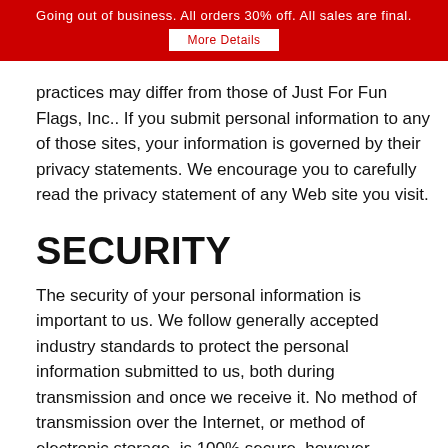Going out of business. All orders 30% off. All sales are final. More Details
practices may differ from those of Just For Fun Flags, Inc.. If you submit personal information to any of those sites, your information is governed by their privacy statements. We encourage you to carefully read the privacy statement of any Web site you visit.
SECURITY
The security of your personal information is important to us. We follow generally accepted industry standards to protect the personal information submitted to us, both during transmission and once we receive it. No method of transmission over the Internet, or method of electronic storage, is 100% secure, however. Therefore, we cannot guarantee its absolute security if you have any questions